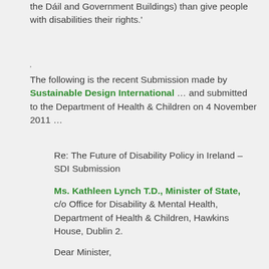the Dáil and Government Buildings) than give people with disabilities their rights.'
The following is the recent Submission made by Sustainable Design International ... and submitted to the Department of Health & Children on 4 November 2011 ...
Re: The Future of Disability Policy in Ireland – SDI Submission
Ms. Kathleen Lynch T.D., Minister of State, c/o Office for Disability & Mental Health, Department of Health & Children, Hawkins House, Dublin 2.
Dear Minister,
It is reassuring to see that the following two documents, available for download from the Department's WebSite, contain extensive references to Human Rights and, particularly, the UN Convention